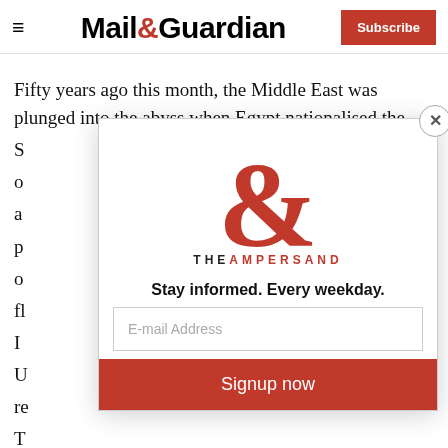Mail&Guardian — Subscribe
Fifty years ago this month, the Middle East was plunged into the abyss when Egypt nationalised the S o a p o fl I U re T c
[Figure (logo): The Ampersand newsletter logo with large red ampersand symbol and text THE AMPERSAND]
Stay informed. Every weekday.
E-mail Address
Signup now